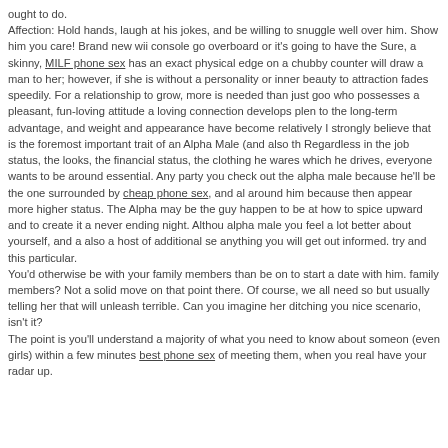ought to do.
Affection: Hold hands, laugh at his jokes, and be willing to snuggle well over him. Show him you care! Brand new wii console go overboard or it's going to have the Sure, a skinny, MILF phone sex has an exact physical edge on a chubby counter will draw a man to her; however, if she is without a personality or inner beauty to attraction fades speedily. For a relationship to grow, more is needed than just goo who possesses a pleasant, fun-loving attitude a loving connection develops plen to the long-term advantage, and weight and appearance have become relatively I strongly believe that is the foremost important trait of an Alpha Male (and also th Regardless in the job status, the looks, the financial status, the clothing he wares which he drives, everyone wants to be around essential. Any party you check out the alpha male because he'll be the one surrounded by cheap phone sex, and al around him because then appear more higher status. The Alpha may be the guy happen to be at how to spice upward and to create it a never ending night. Althou alpha male you feel a lot better about yourself, and a also a host of additional se anything you will get out informed. try and this particular.
You'd otherwise be with your family members than be on to start a date with him. family members? Not a solid move on that point there. Of course, we all need so but usually telling her that will unleash terrible. Can you imagine her ditching you nice scenario, isn't it?
The point is you'll understand a majority of what you need to know about someon (even girls) within a few minutes best phone sex of meeting them, when you real have your radar up.